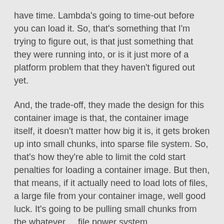have time. Lambda's going to time-out before you can load it. So, that's something that I'm trying to figure out, is that just something that they were running into, or is it just more of a platform problem that they haven't figured out yet.
And, the trade-off, they made the design for this container image is that, the container image itself, it doesn't matter how big it is, it gets broken up into small chunks, into sparse file system. So, that's how they're able to limit the cold start penalties for loading a container image. But then, that means, if it actually need to load lots of files, a large file from your container image, well good luck. It's going to be pulling small chunks from the whatever ... file power system.
Gillian: I want to talk to someone who gets 10 gig in their Lambda, I think you get a prize if you manage to get a 10 gig lambda with like some of the other things as well...